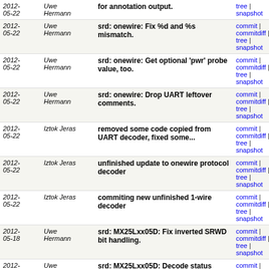| Date | Author | Message | Links |
| --- | --- | --- | --- |
| 2012-05-22 | Uwe Hermann | for annotation output. | commit | commitdiff | tree | snapshot |
| 2012-05-22 | Uwe Hermann | srd: onewire: Fix %d and %s mismatch. | commit | commitdiff | tree | snapshot |
| 2012-05-22 | Uwe Hermann | srd: onewire: Get optional 'pwr' probe value, too. | commit | commitdiff | tree | snapshot |
| 2012-05-22 | Uwe Hermann | srd: onewire: Drop UART leftover comments. | commit | commitdiff | tree | snapshot |
| 2012-05-22 | Iztok Jeras | removed some code copied from UART decoder, fixed some... | commit | commitdiff | tree | snapshot |
| 2012-05-22 | Iztok Jeras | unfinished update to onewire protocol decoder | commit | commitdiff | tree | snapshot |
| 2012-05-22 | Iztok Jeras | commiting new unfinished 1-wire decoder | commit | commitdiff | tree | snapshot |
| 2012-05-18 | Uwe Hermann | srd: MX25Lxx05D: Fix inverted SRWD bit handling. | commit | commitdiff | tree | snapshot |
| 2012-05-18 | Uwe Hermann | srd: MX25Lxx05D: Decode status register bits. | commit | commitdiff | tree | snapshot |
| 2012-05-18 | Uwe Hermann | srd: MX25Lxx05D: Fix SE command. | commit | commitdiff | tree | snapshot |
| 2012-05-18 | Uwe Hermann | srd: MX25Lxx05D: Implement READ command. | commit | commitdiff | tree | snapshot |